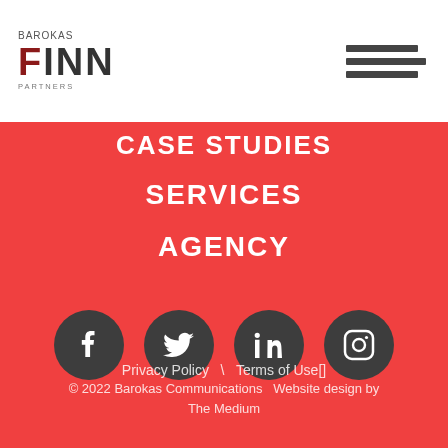[Figure (logo): Barokas Finn Partners logo in top left]
[Figure (other): Hamburger menu icon top right]
CASE STUDIES
SERVICES
AGENCY
[Figure (other): Social media icons: Facebook, Twitter, LinkedIn, Instagram]
Privacy Policy \ Terms of Use[]
© 2022 Barokas Communications   Website design by The Medium